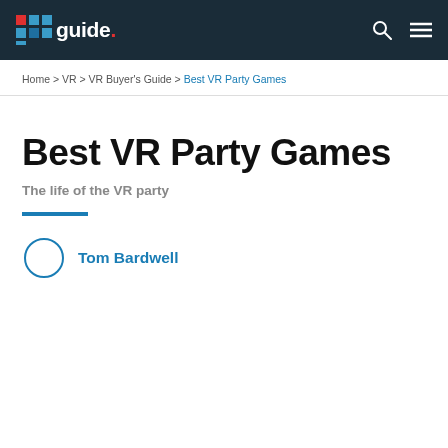PC guide. [logo] [search] [menu]
Home > VR > VR Buyer's Guide > Best VR Party Games
Best VR Party Games
The life of the VR party
Tom Bardwell